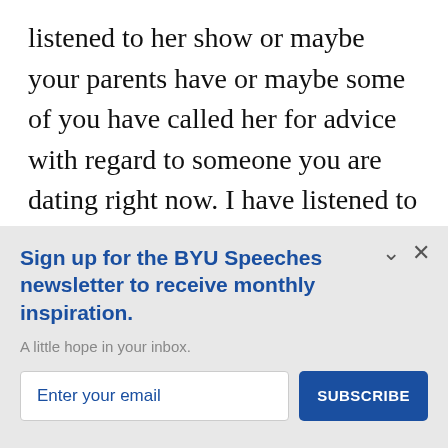listened to her show or maybe your parents have or maybe some of you have called her for advice with regard to someone you are dating right now. I have listened to this show many times while driving long distances with my wife, but because Dr. Laura is so confrontational with the people who call in, it
Sign up for the BYU Speeches newsletter to receive monthly inspiration.
A little hope in your inbox.
Enter your email
SUBSCRIBE